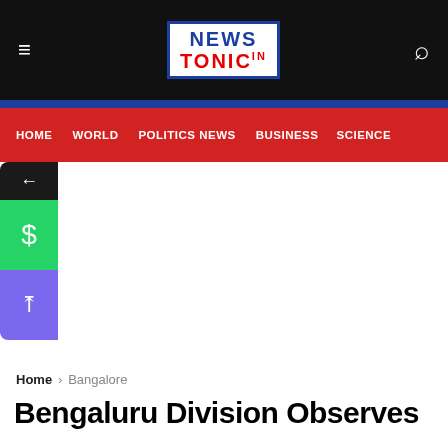NEWS TONIC
HOME | WORLD | POLITICS NEWS | BUSINESS | SCIENCE
[Figure (screenshot): Social media sharing sidebar with back arrow (dark), WhatsApp icon (green), and save/upload icon (purple)]
Home > Bangalore
Bengaluru Division Observes